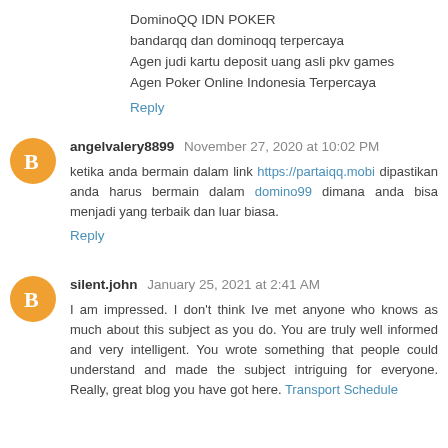DominoQQ IDN POKER
bandarqq dan dominoqq terpercaya
Agen judi kartu deposit uang asli pkv games
Agen Poker Online Indonesia Terpercaya
Reply
angelvalery8899 November 27, 2020 at 10:02 PM
ketika anda bermain dalam link https://partaiqq.mobi dipastikan anda harus bermain dalam domino99 dimana anda bisa menjadi yang terbaik dan luar biasa.
Reply
silent.john January 25, 2021 at 2:41 AM
I am impressed. I don't think Ive met anyone who knows as much about this subject as you do. You are truly well informed and very intelligent. You wrote something that people could understand and made the subject intriguing for everyone. Really, great blog you have got here. Transport Schedule